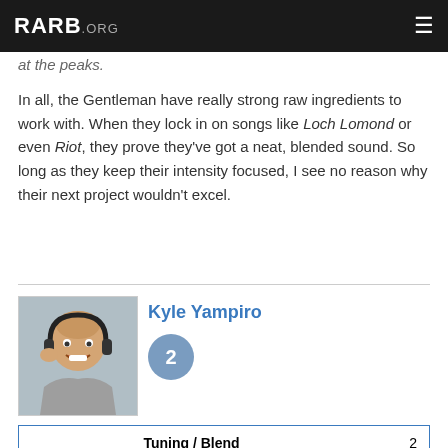RARB.ORG
at the peaks.
In all, the Gentleman have really strong raw ingredients to work with. When they lock in on songs like Loch Lomond or even Riot, they prove they've got a neat, blended sound. So long as they keep their intensity focused, I see no reason why their next project wouldn't excel.
[Figure (photo): Portrait photo of Kyle Yampiro, a man wearing headphones, with an expressive surprised/excited face]
Kyle Yampiro
2
| Category | Score |
| --- | --- |
| Tuning / Blend | 2 |
| Energy / Intensity | 3 |
| Innovation / Creativity | 3 |